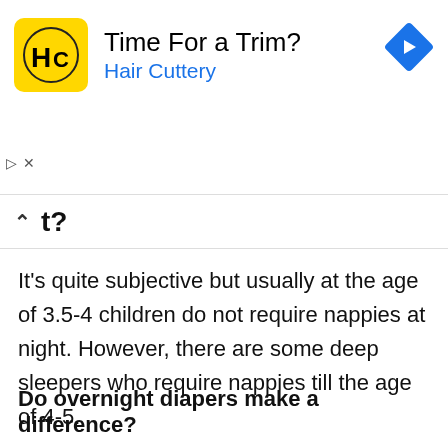[Figure (screenshot): Hair Cuttery advertisement banner with yellow square logo showing 'HC' text, headline 'Time For a Trim?', subheading 'Hair Cuttery' in blue, and a blue diamond navigation arrow on the right.]
t?
It's quite subjective but usually at the age of 3.5-4 children do not require nappies at night. However, there are some deep sleepers who require nappies till the age of 4-5.
Do overnight diapers make a difference?